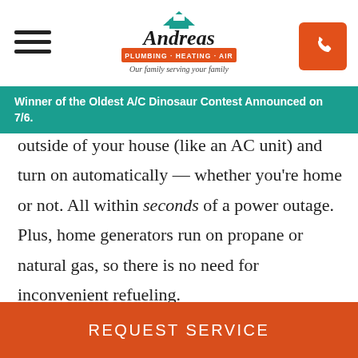Andreas Plumbing · Heating · Air — Our family serving your family
Winner of the Oldest A/C Dinosaur Contest Announced on 7/6.
outside of your house (like an AC unit) and turn on automatically — whether you're home or not. All within seconds of a power outage. Plus, home generators run on propane or natural gas, so there is no need for inconvenient refueling.

Andreas Plumbing is an authorized installer of Kohler brand generators. Our experienced and knowledgeable technicians
REQUEST SERVICE